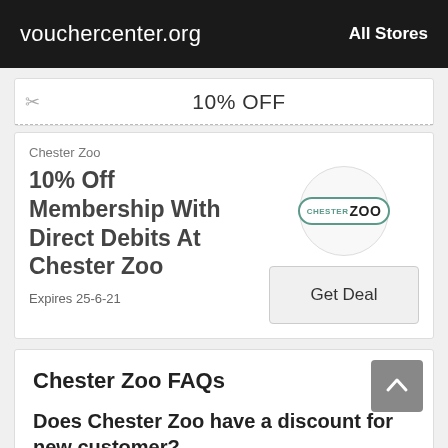vouchercenter.org   All Stores
10% OFF
Chester Zoo
10% Off Membership With Direct Debits At Chester Zoo
Expires 25-6-21
[Figure (logo): Chester Zoo logo in an oval/pill border with teal color]
Get Deal
Chester Zoo FAQs
Does Chester Zoo have a discount for new customer?